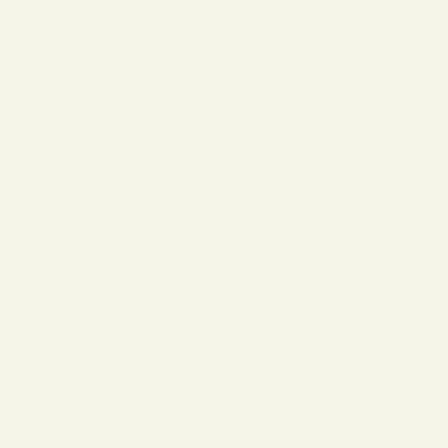olympics-language-resources/ hreflang="en-us" /> <link rel="alternate" href="https://www.languagenut.com/uk/blog/2016/08/02/language-worksheets-for-the-olympics/" hreflang="en-gb" /> <link rel="alternate" href="https://www.languagenut.com/uk/blog/2016/08/02/language-worksheets-for-the-olympics/"